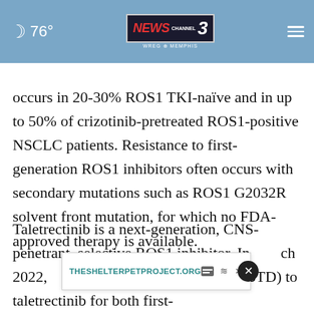76° NEWS CHANNEL 3 WREG MEMPHIS
occurs in 20-30% ROS1 TKI-naïve and in up to 50% of crizotinib-pretreated ROS1-positive NSCLC patients. Resistance to first-generation ROS1 inhibitors often occurs with secondary mutations such as ROS1 G2032R solvent front mutation, for which no FDA-approved therapy is available.
Taletrectinib is a next-generation, CNS-penetrant, selective ROS1 inhibitor. In ch 2022, apy Designation (BTD) to taletrectinib for both first-
[Figure (other): Advertisement banner for THESHELTERPETPROJECT.ORG with close button]